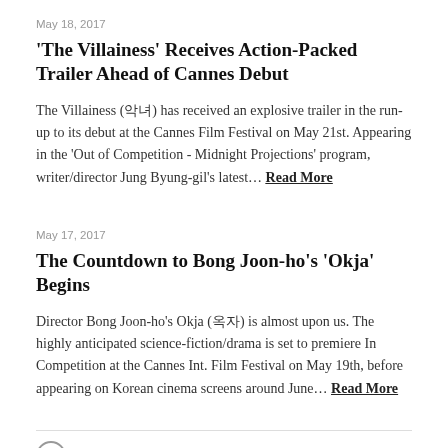May 18, 2017
'The Villainess' Receives Action-Packed Trailer Ahead of Cannes Debut
The Villainess (악녀) has received an explosive trailer in the run-up to its debut at the Cannes Film Festival on May 21st. Appearing in the 'Out of Competition - Midnight Projections' program, writer/director Jung Byung-gil's latest… Read More
May 17, 2017
The Countdown to Bong Joon-ho's 'Okja' Begins
Director Bong Joon-ho's Okja (옥자) is almost upon us. The highly anticipated science-fiction/drama is set to premiere In Competition at the Cannes Int. Film Festival on May 19th, before appearing on Korean cinema screens around June… Read More
FOLLOW US VIA EMAIL